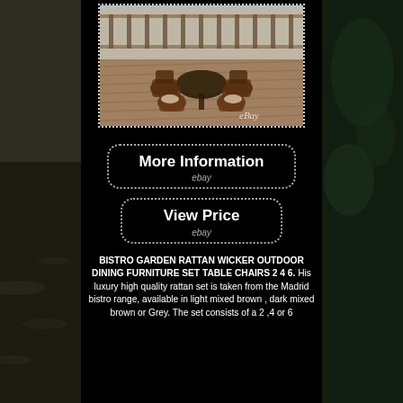[Figure (photo): Outdoor rattan wicker bistro dining furniture set with round table and 4 chairs on a wooden deck, with eBay watermark]
[Figure (screenshot): More Information button with dotted border and ebay label]
[Figure (screenshot): View Price button with dotted border and ebay label]
BISTRO GARDEN RATTAN WICKER OUTDOOR DINING FURNITURE SET TABLE CHAIRS 2 4 6. His luxury high quality rattan set is taken from the Madrid bistro range, available in light mixed brown , dark mixed brown or Grey. The set consists of a 2 ,4 or 6